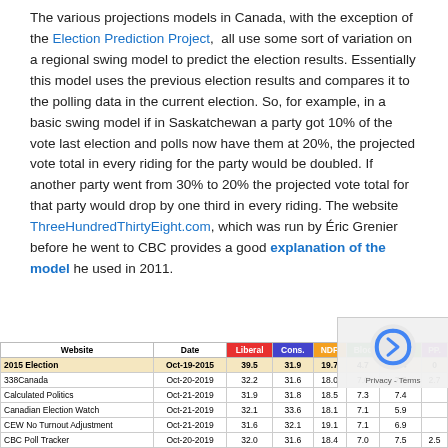The various projections models in Canada, with the exception of the Election Prediction Project, all use some sort of variation on a regional swing model to predict the election results. Essentially this model uses the previous election results and compares it to the polling data in the current election. So, for example, in a basic swing model if in Saskatchewan a party got 10% of the vote last election and polls now have them at 20%, the projected vote total in every riding for the party would be doubled. If another party went from 30% to 20% the projected vote total for that party would drop by one third in every riding. The website ThreeHundredThirtyEight.com, which was run by Éric Grenier before he went to CBC provides a good explanation of the model he used in 2011.
| Website | Date | Liberal | Cons. | NDP | Bloc | Green | PP. |
| --- | --- | --- | --- | --- | --- | --- | --- |
| 2015 Election | Oct-19-2015 | 39.5 | 31.9 | 19.7 | 4.7 | 3.4 | 0 |
| 338Canada | Oct-20-2019 | 32.2 | 31.6 | 18.0 | 7.0 | 7.7 | 2.7 |
| Calculated Politics | Oct-21-2019 | 31.9 | 31.8 | 18.5 | 7.3 | 7.4 |  |
| Canadian Election Watch | Oct-21-2019 | 32.1 | 33.6 | 18.1 | 7.1 | 5.9 |  |
| CEW No Turnout Adjustment | Oct-21-2019 | 31.6 | 32.1 | 19.1 | 7.1 | 6.9 |  |
| CBC Poll Tracker | Oct-20-2019 | 32.0 | 31.6 | 18.4 | 7.0 | 7.5 | 2.5 | 0.9 |